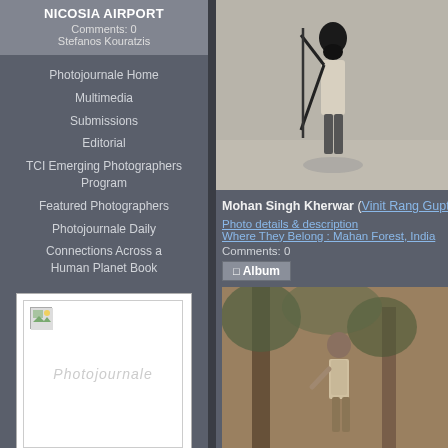NICOSIA AIRPORT
Comments: 0
Stefanos Kouratzis
Photojournale Home
Multimedia
Submissions
Editorial
TCI Emerging Photographers Program
Featured Photographers
Photojournale Daily
Connections Across a Human Planet Book
[Figure (photo): Book cover placeholder with Photojournale watermark]
Photojournale ...
Softcover Edition
By Photojournale
[Figure (photo): Black and white photo of Mohan Singh Kherwar, a man standing in a field holding a long stick/pole, smiling]
Mohan Singh Kherwar (Vinit Rang Gupta)
Photo details & description
Where They Belong : Mahan Forest, India
Comments: 0
[Figure (photo): Sepia/black and white photo of a man standing among trees in a forest, wearing a tank top]